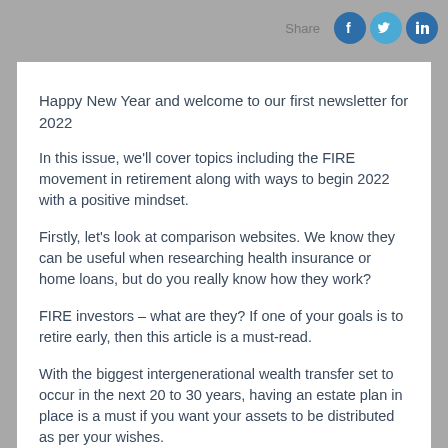[Figure (infographic): Share label with Facebook, Twitter, and LinkedIn social media icon buttons]
Happy New Year and welcome to our first newsletter for 2022
In this issue, we'll cover topics including the FIRE movement in retirement along with ways to begin 2022 with a positive mindset.
Firstly, let's look at comparison websites. We know they can be useful when researching health insurance or home loans, but do you really know how they work?
FIRE investors – what are they? If one of your goals is to retire early, then this article is a must-read.
With the biggest intergenerational wealth transfer set to occur in the next 20 to 30 years, having an estate plan in place is a must if you want your assets to be distributed as per your wishes.
Customer experience can make or break a